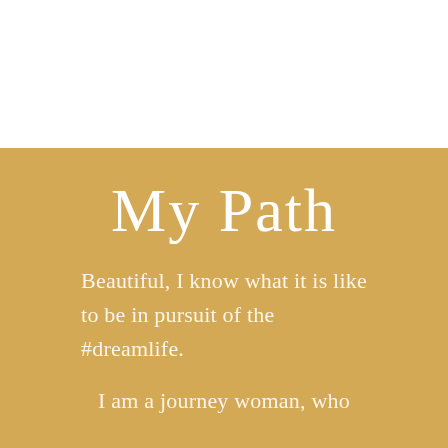My Path
Beautiful, I know what it is like to be in pursuit of the #dreamlife.
I am a journey woman, who